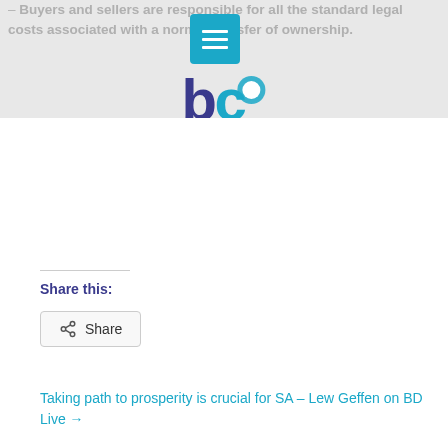– Buyers and sellers are responsible for all the standard legal costs associated with a normal transfer of ownership.
[Figure (logo): Bartlett Communications logo with 'bc' icon and text 'bartlettcommunications']
Share this:
Share
Taking path to prosperity is crucial for SA – Lew Geffen on BD Live →
← What you need to know about the new sectional title legislation – Bizcommunity
Related Posts
Dramatic new Cape skyline on its way, IOL reports
[Figure (photo): Photo of a building/skyline at dusk]